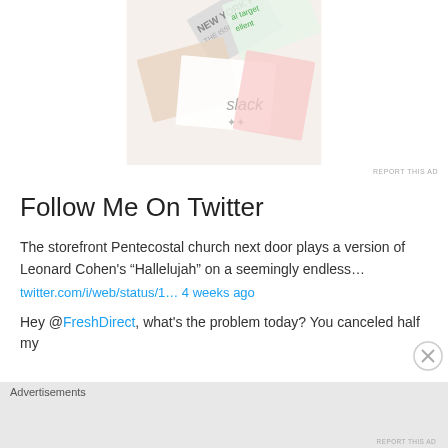[Figure (advertisement): Top advertisement image showing overlapping newspaper pages, magazine covers including New York Post, and a Slack advertisement with the Slack logo]
REPORT THIS AD
Follow Me On Twitter
The storefront Pentecostal church next door plays a version of Leonard Cohen’s “Hallelujah” on a seemingly endless…
twitter.com/i/web/status/1… 4 weeks ago
Hey @FreshDirect, what’s the problem today? You canceled half my
[Figure (advertisement): DuckDuckGo advertisement with orange background. Text: Search, browse, and email with more privacy. All in One Free App. Shows DuckDuckGo logo on a phone mock-up.]